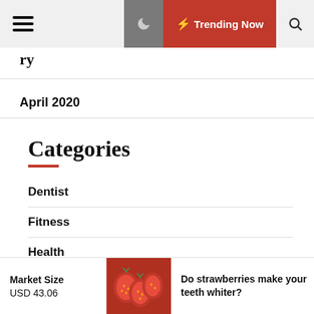Trending Now
April 2020
Categories
Dentist
Fitness
Health
Hospital
Market Size USD 43.06
Do strawberries make your teeth whiter?